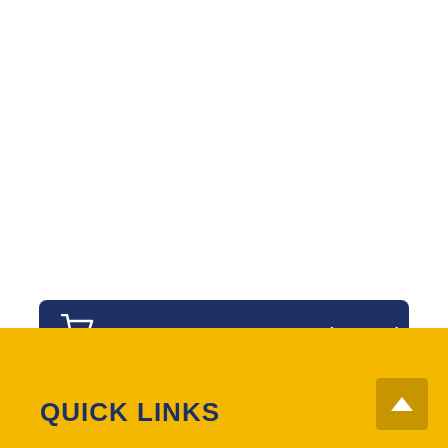[Figure (other): A dark navy blue button with a shopping cart icon on the left and the text 'GET THE IDS WORKSHOP (OFFICE) PACKAGE!' in white uppercase bold letters]
QUICK LINKS